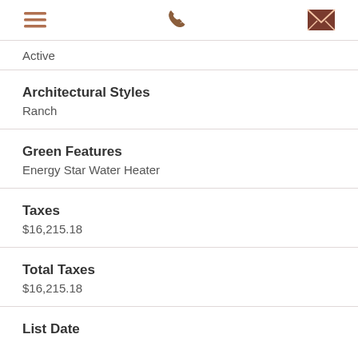Menu | Phone | Email icons
Active
Architectural Styles
Ranch
Green Features
Energy Star Water Heater
Taxes
$16,215.18
Total Taxes
$16,215.18
List Date